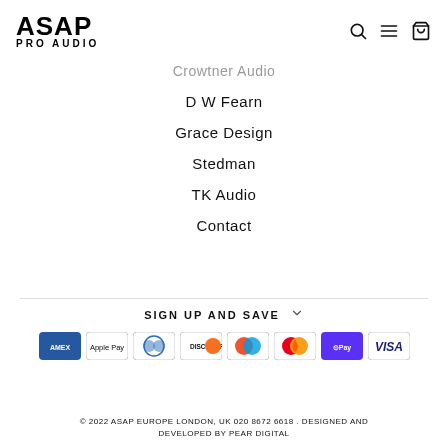ASAP PRO AUDIO
Crowtner Audio
D W Fearn
Grace Design
Stedman
TK Audio
Contact
SIGN UP AND SAVE
[Figure (infographic): Payment method icons: American Express, Apple Pay, Diners Club, Discover, Maestro, Mastercard, Shop Pay, Visa]
© 2022 ASAP EUROPE LONDON, UK 020 8672 6618 . DESIGNED AND DEVELOPED BY PEAR DIGITAL